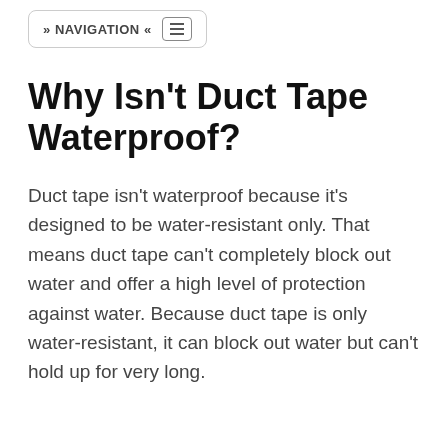» NAVIGATION «
Why Isn't Duct Tape Waterproof?
Duct tape isn't waterproof because it's designed to be water-resistant only. That means duct tape can't completely block out water and offer a high level of protection against water. Because duct tape is only water-resistant, it can block out water but can't hold up for very long.